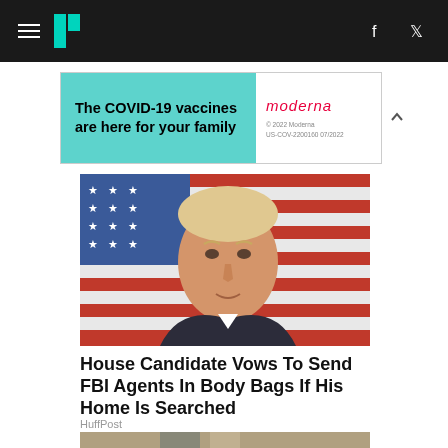HuffPost navigation header with hamburger menu, logo, Facebook and Twitter icons
[Figure (illustration): Advertisement banner: teal left panel reading 'The COVID-19 vaccines are here for your family', white right panel with Moderna logo and fine print '© 2022 Moderna US-COV-2200160 07/2022']
[Figure (photo): Man with short grey/blonde hair in dark suit speaking in front of an American flag background]
House Candidate Vows To Send FBI Agents In Body Bags If His Home Is Searched
HuffPost
[Figure (photo): Partial photo of a door handle/deadbolt lock on a door, cropped at bottom of page]